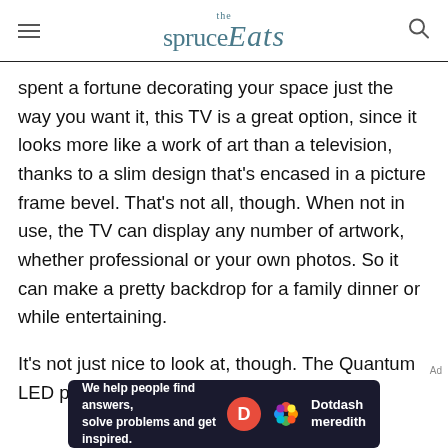the spruce Eats
spent a fortune decorating your space just the way you want it, this TV is a great option, since it looks more like a work of art than a television, thanks to a slim design that's encased in a picture frame bevel. That's not all, though. When not in use, the TV can display any number of artwork, whether professional or your own photos. So it can make a pretty backdrop for a family dinner or while entertaining.
It's not just nice to look at, though. The Quantum LED picture is crisp and clear and the
[Figure (other): Dotdash Meredith advertisement banner: 'We help people find answers, solve problems and get inspired.' with Dotdash Meredith logo on dark background]